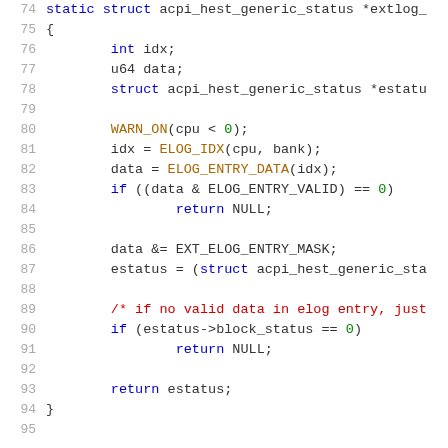[Figure (screenshot): C source code snippet showing lines 74-95 of a kernel function. The code includes variable declarations (int idx, u64 data, struct acpi_hest_generic_status *estatus), calls to WARN_ON, ELOG_IDX, ELOG_ENTRY_DATA macros, conditional checks, bitmask operation, and return statements. Syntax highlighting: keywords in blue, macros/values in green/orange, comments in red.]